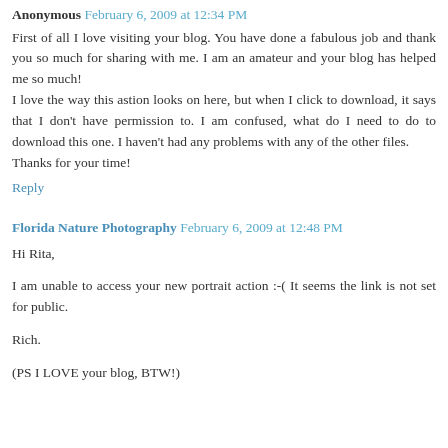Anonymous February 6, 2009 at 12:34 PM
First of all I love visiting your blog. You have done a fabulous job and thank you so much for sharing with me. I am an amateur and your blog has helped me so much!
I love the way this astion looks on here, but when I click to download, it says that I don't have permission to. I am confused, what do I need to do to download this one. I haven't had any problems with any of the other files.
Thanks for your time!
Reply
Florida Nature Photography February 6, 2009 at 12:48 PM
Hi Rita,
I am unable to access your new portrait action :-( It seems the link is not set for public.
Rich.
(PS I LOVE your blog, BTW!)